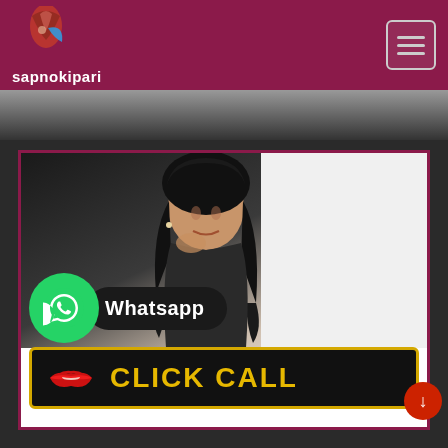sapnokipari
[Figure (photo): Website screenshot showing sapnokipari header with logo and hamburger menu on maroon background, with a photo of a woman with dark curly hair, Whatsapp button overlay, phone number +91 8862903895, and CLICK CALL button at the bottom]
Whatsapp
+91 8862903895
CLICK CALL